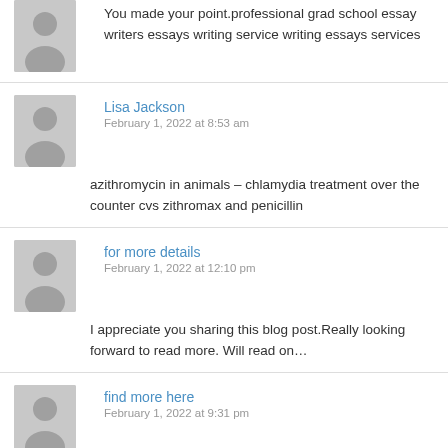You made your point.professional grad school essay writers essays writing service writing essays services
Lisa Jackson
February 1, 2022 at 8:53 am
azithromycin in animals – chlamydia treatment over the counter cvs zithromax and penicillin
for more details
February 1, 2022 at 12:10 pm
I appreciate you sharing this blog post.Really looking forward to read more. Will read on…
find more here
February 1, 2022 at 9:31 pm
Hi! This post couldn't be written any better! Reading this postreminds me of my previous room mate! He always kept talking about this.I will forward this write-up